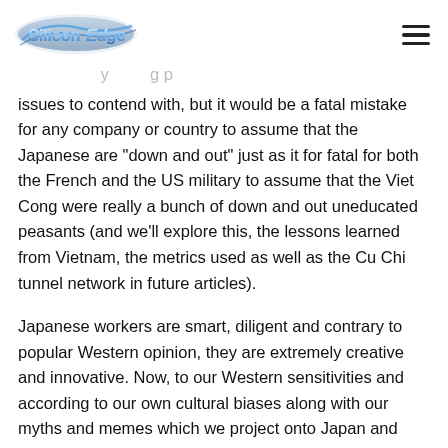SiliconEdge logo and navigation menu
issues to contend with, but it would be a fatal mistake for any company or country to assume that the Japanese are "down and out" just as it for fatal for both the French and the US military to assume that the Viet Cong were really a bunch of down and out uneducated peasants (and we'll explore this, the lessons learned from Vietnam, the metrics used as well as the Cu Chi tunnel network in future articles).
Japanese workers are smart, diligent and contrary to popular Western opinion, they are extremely creative and innovative. Now, to our Western sensitivities and according to our own cultural biases along with our myths and memes which we project onto Japan and